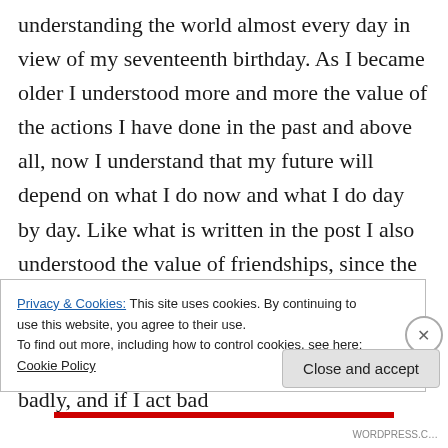understanding the world almost every day in view of my seventeenth birthday. As I became older I understood more and more the value of the actions I have done in the past and above all, now I understand that my future will depend on what I do now and what I do day by day. Like what is written in the post I also understood the value of friendships, since the beginning of the new year, I am very satisfied to have found friends who always remain friends, if I act good towards them, or rarely badly, and if I act bad
Privacy & Cookies: This site uses cookies. By continuing to use this website, you agree to their use.
To find out more, including how to control cookies, see here: Cookie Policy
Close and accept
WORDPRESS.C...